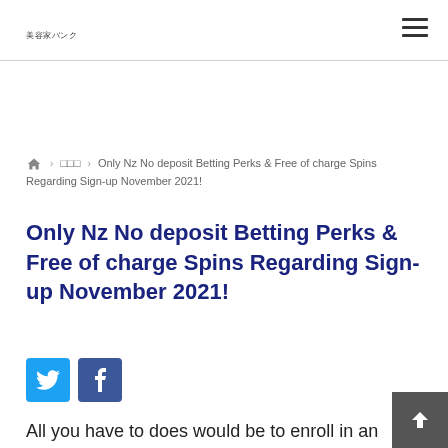美容家バンク
🏠 > □□□ > Only Nz No deposit Betting Perks & Free of charge Spins Regarding Sign-up November 2021!
Only Nz No deposit Betting Perks & Free of charge Spins Regarding Sign-up November 2021!
[Figure (infographic): Twitter and Facebook social share buttons]
All you have to does would be to enroll in an account and then state your own